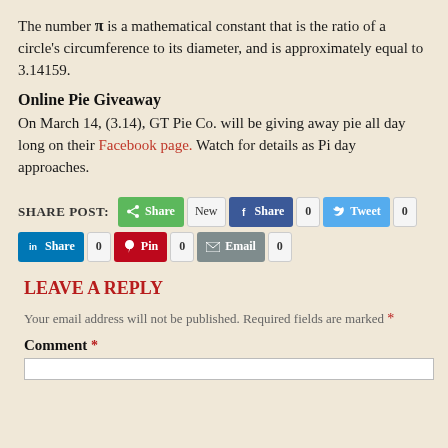The number π is a mathematical constant that is the ratio of a circle's circumference to its diameter, and is approximately equal to 3.14159.
Online Pie Giveaway
On March 14, (3.14), GT Pie Co. will be giving away pie all day long on their Facebook page. Watch for details as Pi day approaches.
SHARE POST: [Share] New [Share] 0 [Tweet] 0 [Share] 0 [Pin] 0 [Email] 0
LEAVE A REPLY
Your email address will not be published. Required fields are marked *
Comment *